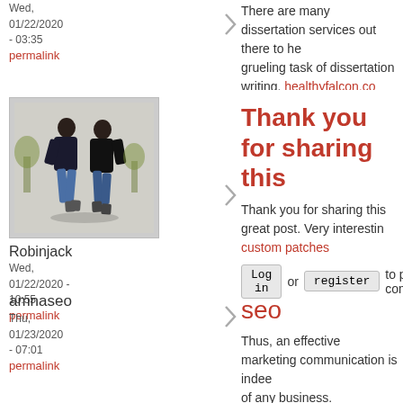Wed, 01/22/2020 - 03:35
permalink
There are many dissertation services out there to he... grueling task of dissertation writing. healthyfalcon.co...
Login or register to post comments
[Figure (photo): Two people walking, wearing dark hoodies and jeans]
Robinjack
Wed, 01/22/2020 - 10:55
permalink
Thank you for sharing this
Thank you for sharing this great post. Very interestin... custom patches
Login or register to post comments
amnaseo
Thu, 01/23/2020 - 07:01
permalink
seo
Thus, an effective marketing communication is indee... of any business. healthyfalcon.com
Login or register to post comments